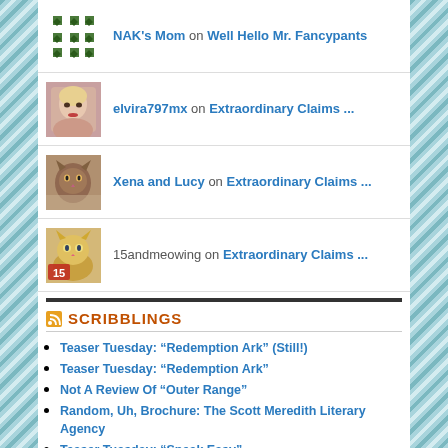NAK's Mom on Well Hello Mr. Fancypants
elvira797mx on Extraordinary Claims ...
Xena and Lucy on Extraordinary Claims ...
15andmeowing on Extraordinary Claims ...
SCRIBBLINGS
Teaser Tuesday: “Redemption Ark” (Still!)
Teaser Tuesday: “Redemption Ark”
Not A Review Of “Outer Range”
Random, Uh, Brochure: The Scott Meredith Literary Agency
Teaser Tuesday: “Speak Easy”